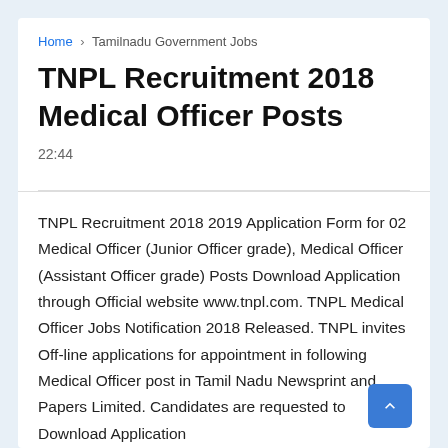Home › Tamilnadu Government Jobs
TNPL Recruitment 2018 Medical Officer Posts
22:44
TNPL Recruitment 2018 2019 Application Form for 02 Medical Officer (Junior Officer grade), Medical Officer (Assistant Officer grade) Posts Download Application through Official website www.tnpl.com. TNPL Medical Officer Jobs Notification 2018 Released. TNPL invites Off-line applications for appointment in following Medical Officer post in Tamil Nadu Newsprint and Papers Limited. Candidates are requested to Download Application